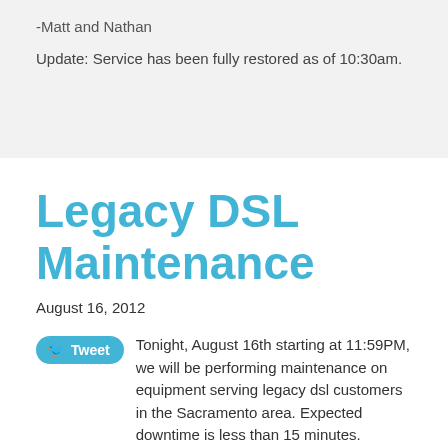-Matt and Nathan
Update: Service has been fully restored as of 10:30am.
Legacy DSL Maintenance
August 16, 2012
Tonight, August 16th starting at 11:59PM, we will be performing maintenance on equipment serving legacy dsl customers in the Sacramento area. Expected downtime is less than 15 minutes.
– Robbie and Tomoc
Update: The maintenance has been completed. Downtimo